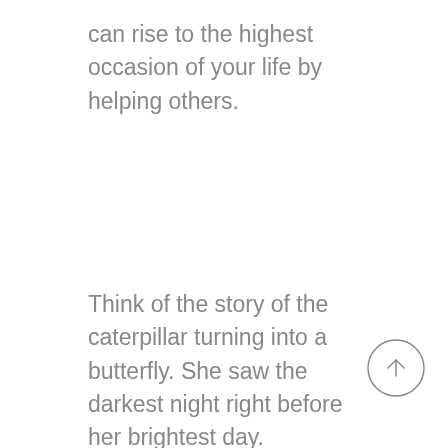can rise to the highest occasion of your life by helping others.
Think of the story of the caterpillar turning into a butterfly. She saw the darkest night right before her brightest day. Consider too, how everyone (including you) has to go through
[Figure (illustration): A circle with an upward-pointing arrow inside, functioning as a scroll-to-top or navigation button.]